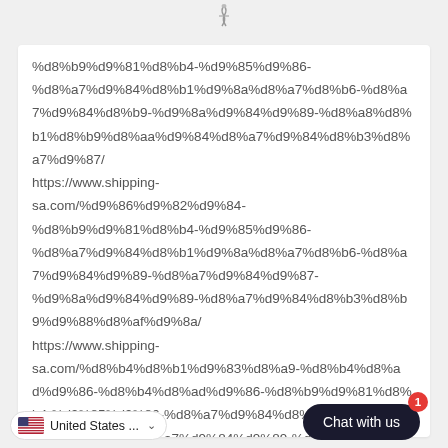[Figure (logo): Website logo/icon at top center]
%d8%b9%d9%81%d8%b4-%d9%85%d9%86-%d8%a7%d9%84%d8%b1%d9%8a%d8%a7%d8%b6-%d8%a7%d9%84%d8%b9-%d9%8a%d9%84%d9%89-%d8%a8%d8%b1%d8%b9%d8%aa%d9%84%d8%a7%d9%84%d8%b3%d8%a7%d9%87/
https://www.shipping-sa.com/%d9%86%d9%82%d9%84-%d8%b9%d9%81%d8%b4-%d9%85%d9%86-%d8%a7%d9%84%d8%b1%d9%8a%d8%a7%d8%b6-%d8%a7%d9%84%d9%89-%d8%a7%d9%84%d9%87%d9%81%d9%88%d9%81-%d8%a7%d9%84%d8%b3%d8%b9%d9%88%d8%af%d9%8a/
https://www.shipping-sa.com/%d8%b4%d8%b1%d9%83%d8%a9-%d8%b4%d8%ad%d9%86-%d8%b9%d9%81%d8%b4-%d9%85%d9%86-%d8%a7%d9%84%d8%b1%d9%8a%d8%a7%d8%b6-%d8%a7%d9%84%d9%89-%d8%a7%d9%84%d8%af%d9%85%d8%a7%d9%85/
United States ...
Chat with us